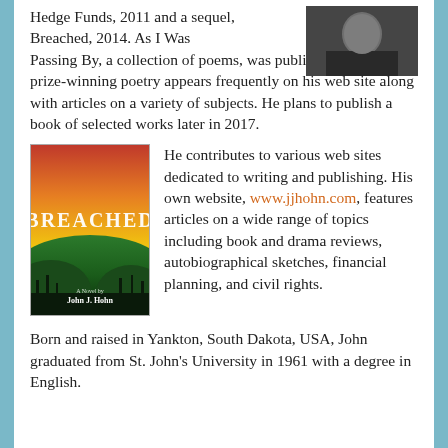Hedge Funds, 2011 and a sequel, Breached, 2014. As I Was Passing By, a collection of poems, was published in 2000. His prize-winning poetry appears frequently on his web site along with articles on a variety of subjects. He plans to publish a book of selected works later in 2017.
[Figure (photo): Photo of author John J. Hohn in upper right corner of the page]
[Figure (photo): Book cover of 'Breached' by John J. Hohn with dark landscape and yellow sky]
He contributes to various web sites dedicated to writing and publishing. His own website, www.jjhohn.com, features articles on a wide range of topics including book and drama reviews, autobiographical sketches, financial planning, and civil rights.
Born and raised in Yankton, South Dakota, USA, John graduated from St. John's University in 1961 with a degree in English.